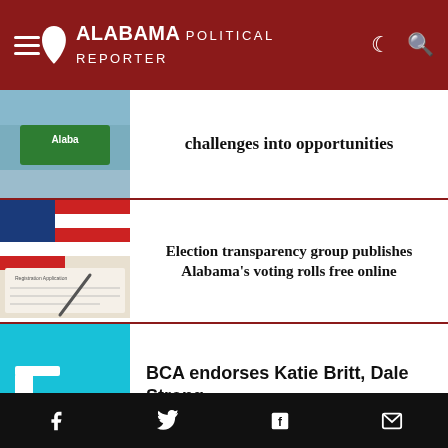Alabama Political Reporter
challenges into opportunities
Election transparency group publishes Alabama's voting rolls free online
BCA endorses Katie Britt, Dale Strong
Catherine floor
Social share bar: Facebook, Twitter, Flipboard, Email